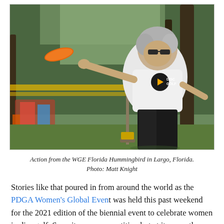[Figure (photo): An older woman in a white Disc Golf shirt throwing an orange frisbee/disc on a disc golf course with trees and playground equipment in the background. The setting is outdoors in Largo, Florida.]
Action from the WGE Florida Hummingbird in Largo, Florida. Photo: Matt Knight
Stories like that poured in from around the world as the PDGA Women's Global Event was held this past weekend for the 2021 edition of the biennial event to celebrate women in disc golf. Sure, it was a competition but at its core, the WGE accomplished its main goal: Highlighting the